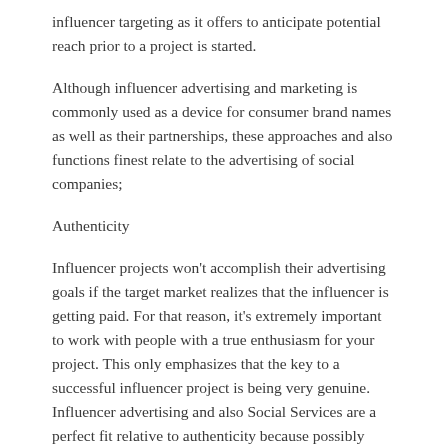influencer targeting as it offers to anticipate potential reach prior to a project is started.
Although influencer advertising and marketing is commonly used as a device for consumer brand names as well as their partnerships, these approaches and also functions finest relate to the advertising of social companies;
Authenticity
Influencer projects won't accomplish their advertising goals if the target market realizes that the influencer is getting paid. For that reason, it's extremely important to work with people with a true enthusiasm for your project. This only emphasizes that the key to a successful influencer project is being very genuine. Influencer advertising and also Social Services are a perfect fit relative to authenticity because possibly targeted influencers are typically already forthright regarding causes they support. This simplifies their identification as potentially the